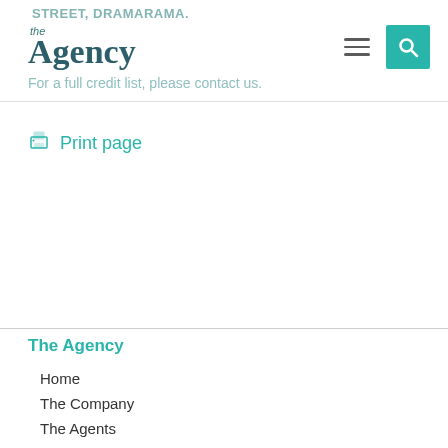STREET, DRAMARAMA.
[Figure (logo): The Agency logo with 'the' in small italic and 'Agency' in large bold serif text]
For a full credit list, please contact us.
Print page
The Agency
Home
The Company
The Agents